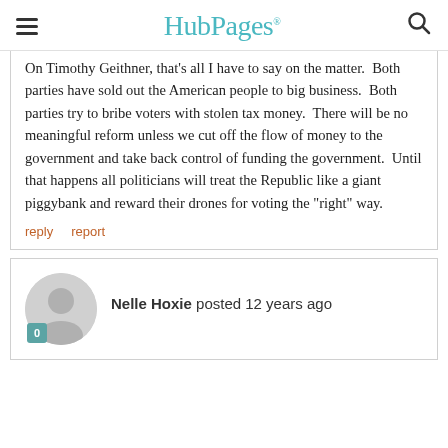HubPages
On Timothy Geithner, that's all I have to say on the matter.  Both parties have sold out the American people to big business.  Both parties try to bribe voters with stolen tax money.  There will be no meaningful reform unless we cut off the flow of money to the government and take back control of funding the government.  Until that happens all politicians will treat the Republic like a giant piggybank and reward their drones for voting the "right" way.
reply   report
Nelle Hoxie posted 12 years ago